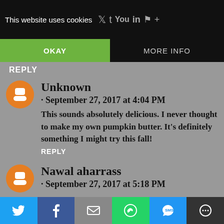This website uses cookies
OKAY
MORE INFO
REPLY
Unknown
· September 27, 2017 at 4:04 PM
This sounds absolutely delicious. I never thought to make my own pumpkin butter. It's definitely something I might try this fall!
REPLY
Nawal aharrass
· September 27, 2017 at 5:18 PM
Twitter | Facebook | Email | WhatsApp | SMS | More